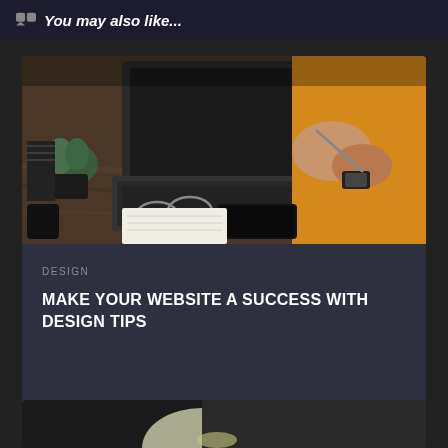You may also like...
[Figure (photo): Person in yellow sweater working at a desk with a laptop, phone, notebook, glasses, and a plant]
DESIGN
MAKE YOUR WEBSITE A SUCCESS WITH DESIGN TIPS
[Figure (photo): Partial view of second card with a dark image, partially visible at the bottom of the page]